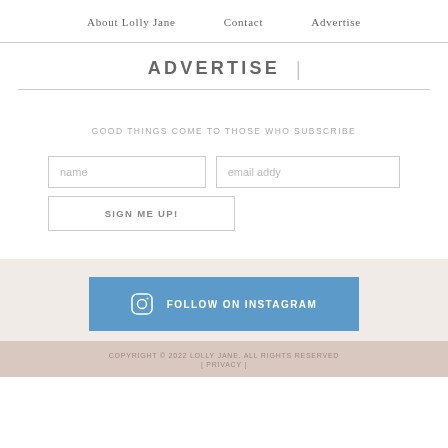About Lolly Jane   Contact   Advertise
ADVERTISE
GOOD THINGS COME TO THOSE WHO SUBSCRIBE
[Figure (screenshot): Newsletter signup form with name and email addy input fields and a SIGN ME UP! button]
[Figure (infographic): Blue button with Instagram icon and text FOLLOW ON INSTAGRAM]
COPYRIGHT © 2022 LOLLY JANE. ALL RIGHTS RESERVED | PRIVACY